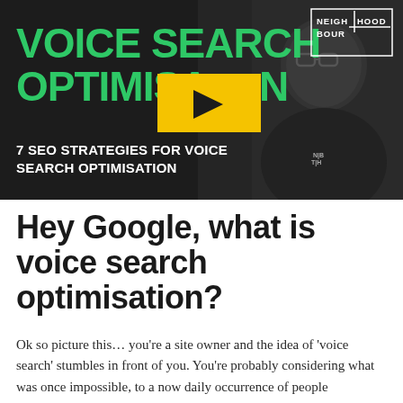[Figure (screenshot): Video thumbnail with dark background showing a man with glasses and beard wearing a black shirt. Green bold text reads 'VOICE SEARCH OPTIMISATION' with a yellow play button overlaid. Bottom left text: '7 SEO STRATEGIES FOR VOICE SEARCH OPTIMISATION'. Top right shows the 'NEIGHBOURHOOD' logo in white on dark background.]
Hey Google, what is voice search optimisation?
Ok so picture this… you're a site owner and the idea of 'voice search' stumbles in front of you. You're probably considering what was once impossible, to a now daily occurrence of people